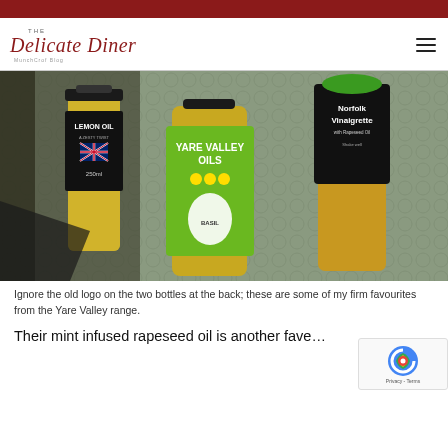The Delicate Diner - website header with logo and navigation
[Figure (photo): Three bottles of Yare Valley Oils on a decorative metal table. Center bottle has a green label reading 'YARE VALLEY OILS' with 'BASIL'. Left bottle is 'LEMON OIL' with a zesty twist label and British flag, 250ml. Right bottle is 'Norfolk Vinaigrette with Rapeseed Oil'. The old logos are visible on the two back bottles.]
Ignore the old logo on the two bottles at the back; these are some of my firm favourites from the Yare Valley range.
Their mint infused rapeseed oil is another fave…